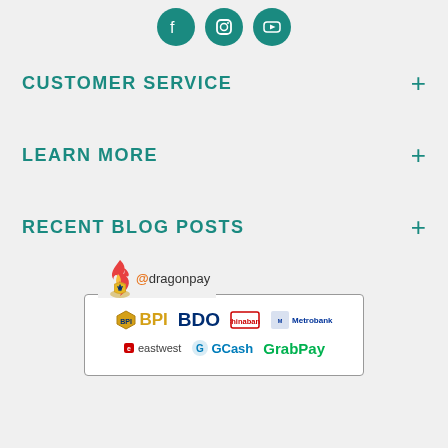[Figure (illustration): Three circular teal social media icons: Facebook, Instagram, YouTube]
CUSTOMER SERVICE
LEARN MORE
RECENT BLOG POSTS
[Figure (logo): Dragonpay payment widget showing logos for BPI, BDO, Chinabank, Metrobank, EastWest, GCash, GrabPay]